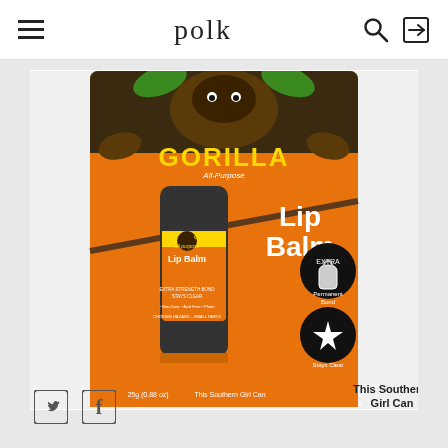polk
[Figure (photo): Gorilla All-Purpose Lip Balm product image on orange packaging with gorilla logo. Includes text: 'Gorilla All-Purpose Lip Balm', '25g (0.88 oz)', 'This Southern Girl Can', 'Safe & Non-Toxic, Acid Free, Photo Safe', 'WARNING: CHOKING HAZARD - SMALL PARTS. NOT FOR CHILDREN UNDER 3 YEARS.']
[Figure (logo): Twitter bird icon (social media)]
[Figure (logo): Facebook 'f' icon (social media)]